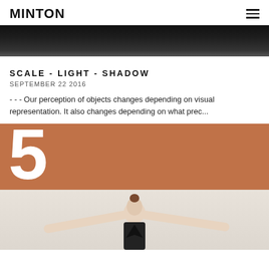MINTON
[Figure (photo): Dark gradient banner image at the top of the page, appearing black/dark grey]
SCALE - LIGHT - SHADOW
SEPTEMBER 22 2016
- - - Our perception of objects changes depending on visual representation. It also changes depending on what prec...
[Figure (photo): Photograph of a woman in a black and white outfit with arms spread wide, standing in front of an orange wall with a large white number 5]